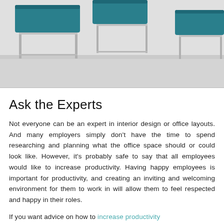[Figure (photo): Photo of modern office furniture — teal/blue upholstered chairs with chrome legs on a light grey background]
Ask the Experts
Not everyone can be an expert in interior design or office layouts. And many employers simply don't have the time to spend researching and planning what the office space should or could look like. However, it's probably safe to say that all employees would like to increase productivity. Having happy employees is important for productivity, and creating an inviting and welcoming environment for them to work in will allow them to feel respected and happy in their roles.
If you want advice on how to increase productivity